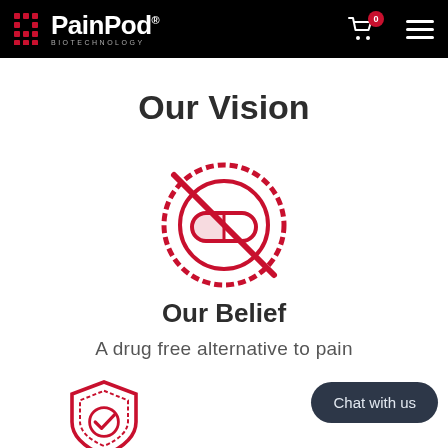[Figure (logo): PainPod Biotechnology logo with red grid dots and white text on black background header with shopping cart (0 items) and hamburger menu]
Our Vision
[Figure (illustration): Red 'no drugs' icon — a crossed-out circle containing a pill/capsule symbol]
Our Belief
A drug free alternative to pain
[Figure (illustration): Red shield icon with a checkmark inside, partially visible at bottom]
Chat with us